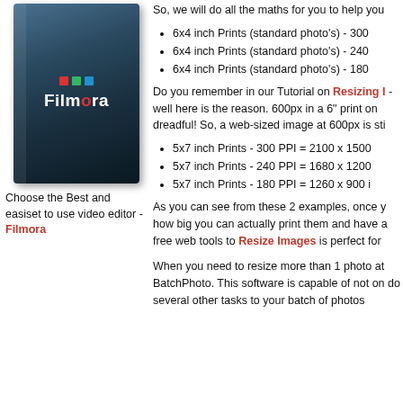[Figure (illustration): Filmora video editor software box with dark blue/teal gradient cover showing landscape photo and Filmora logo with colored squares icon]
Choose the Best and easiset to use video editor - Filmora
So, we will do all the maths for you to help you
6x4 inch Prints (standard photo's) - 300
6x4 inch Prints (standard photo's) - 240
6x4 inch Prints (standard photo's) - 180
Do you remember in our Tutorial on Resizing I - well here is the reason. 600px in a 6" print on dreadful! So, a web-sized image at 600px is sti
5x7 inch Prints - 300 PPI = 2100 x 1500
5x7 inch Prints - 240 PPI = 1680 x 1200
5x7 inch Prints - 180 PPI = 1260 x 900 i
As you can see from these 2 examples, once y how big you can actually print them and have a free web tools to Resize Images is perfect for
When you need to resize more than 1 photo at BatchPhoto. This software is capable of not on do several other tasks to your batch of photos